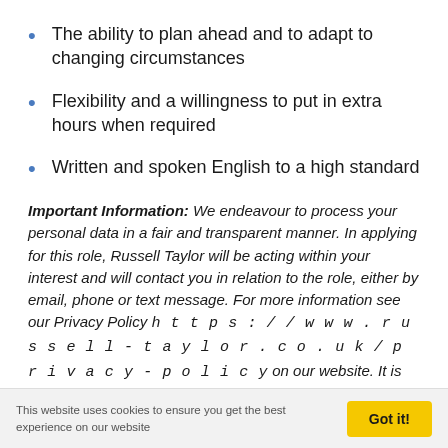The ability to plan ahead and to adapt to changing circumstances
Flexibility and a willingness to put in extra hours when required
Written and spoken English to a high standard
Important Information: We endeavour to process your personal data in a fair and transparent manner. In applying for this role, Russell Taylor will be acting within your interest and will contact you in relation to the role, either by email, phone or text message. For more information see our Privacy Policy https://www.russell-taylor.co.uk/privacy-policy on our website. It is important you are aware of your individual rights and the provisions the company has put in place to protect your data. If you would like further information on
This website uses cookies to ensure you get the best experience on our website  Got it!